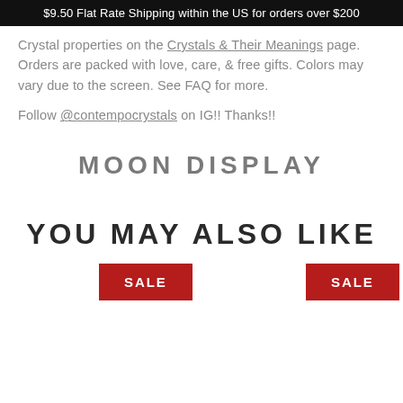$9.50 Flat Rate Shipping within the US for orders over $200
Crystal properties on the Crystals & Their Meanings page. Orders are packed with love, care, & free gifts. Colors may vary due to the screen. See FAQ for more.
Follow @contempocrystals on IG!! Thanks!!
MOON DISPLAY
YOU MAY ALSO LIKE
SALE SALE